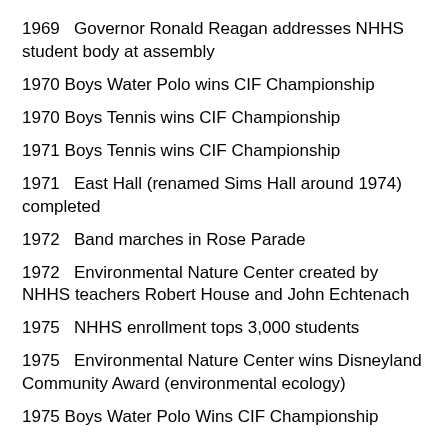1969   Governor Ronald Reagan addresses NHHS student body at assembly
1970 Boys Water Polo wins CIF Championship
1970 Boys Tennis wins CIF Championship
1971 Boys Tennis wins CIF Championship
1971   East Hall (renamed Sims Hall around 1974) completed
1972   Band marches in Rose Parade
1972   Environmental Nature Center created by NHHS teachers Robert House and John Echtenach
1975   NHHS enrollment tops 3,000 students
1975   Environmental Nature Center wins Disneyland Community Award (environmental ecology)
1975 Boys Water Polo Wins CIF Championship